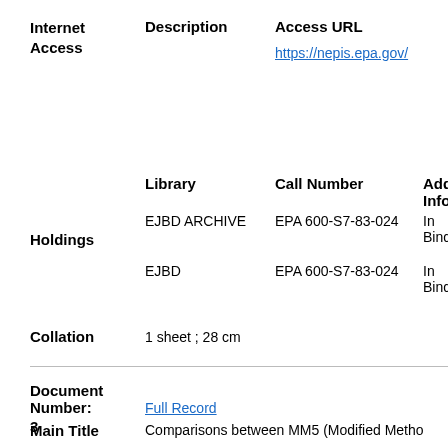| Internet Access | Description | Access URL |
| --- | --- | --- |
|  |  | https://nepis.epa.gov/ |
|  | Library | Call Number | Additional Info |
| --- | --- | --- | --- |
| Holdings | EJBD ARCHIVE | EPA 600-S7-83-024 | In Bind |
|  | EJBD | EPA 600-S7-83-024 | In Bind |
Collation   1 sheet ; 28 cm
Document
Number:   Full Record
3
Main Title   Comparisons between MM5 (Modified Metho